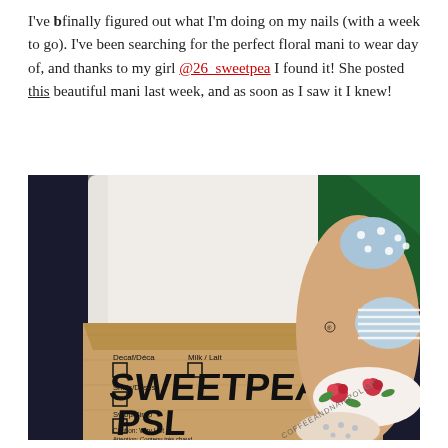I've bfinally figured out what I'm doing on my nails (with a week to go). I've been searching for the perfect floral mani to wear day of, and thanks to my girl @26_sweetpea I found it! She posted this beautiful mani last week, and as soon as I saw it I knew!
[Figure (photo): Photo of a hand holding a Starbucks coffee cup sleeve. The hand shows decorative nail art including blue polka dot nails, blue striped nails, and floral rose pattern nails. The sleeve shows Starbucks branding and order checkboxes with handwritten writing 'SWEETPEAS PSL'. A watermark reads COFFEEANDNAILPOLISH.]